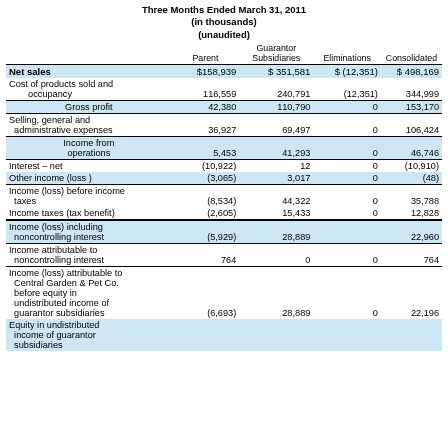Three Months Ended March 31, 2011 (in thousands) (unaudited)
|  | Parent | Guarantor Subsidiaries | Eliminations | Consolidated |
| --- | --- | --- | --- | --- |
| Net sales | $158,939 | $351,581 | $(12,351) | $498,169 |
| Cost of products sold and occupancy | 116,559 | 240,791 | (12,351) | 344,999 |
| Gross profit | 42,380 | 110,790 | 0 | 153,170 |
| Selling, general and administrative expenses | 36,927 | 69,497 | 0 | 106,424 |
| Income from operations | 5,453 | 41,293 | 0 | 46,746 |
| Interest – net | (10,922) | 12 | 0 | (10,910) |
| Other income (loss) | (3,065) | 3,017 | 0 | (48) |
| Income (loss) before income taxes | (8,534) | 44,322 | 0 | 35,788 |
| Income taxes (tax benefit) | (2,605) | 15,433 | 0 | 12,828 |
| Income (loss) including noncontrolling interest | (5,929) | 28,889 |  | 22,960 |
| Income attributable to noncontrolling interest | 764 | 0 | 0 | 764 |
| Income (loss) attributable to Central Garden & Pet Co. before equity in undistributed income of guarantor subsidiaries | (6,693) | 28,889 | 0 | 22,196 |
| Equity in undistributed income of guarantor subsidiaries |  |  |  |  |